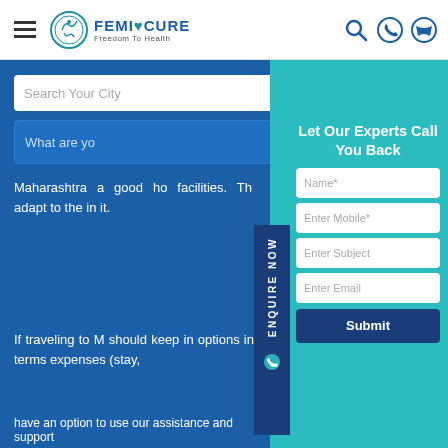FEMICURE - Freedom To Health
Search Your City
What are yo
Maharashtra a good ho facilities. Th adapt to the in it.
ENQUIRE NOW
Let Our Experts Call You Back
Name*
Enter Mobile*
Enter Subject
Enter Email
Submit
If traveling to M should keep in options in terms expenses (stay,
have an option to use our assistance and support